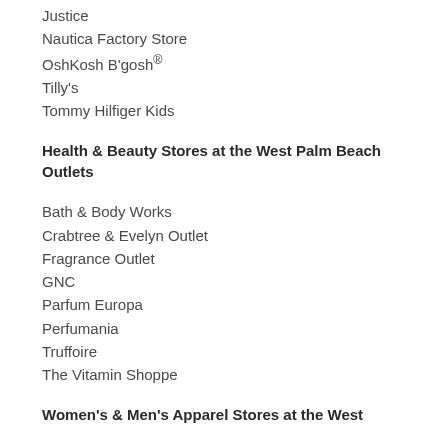Justice
Nautica Factory Store
OshKosh B'gosh®
Tilly's
Tommy Hilfiger Kids
Health & Beauty Stores at the West Palm Beach Outlets
Bath & Body Works
Crabtree & Evelyn Outlet
Fragrance Outlet
GNC
Parfum Europa
Perfumania
Truffoire
The Vitamin Shoppe
Women's & Men's Apparel Stores at the West